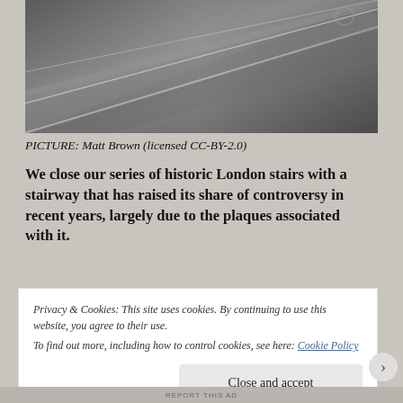[Figure (photo): Close-up photograph of historic stone or metal stairs in London, viewed at an angle showing diagonal stair treads with light reflections on a dark metallic/stone surface.]
PICTURE: Matt Brown (licensed CC-BY-2.0)
We close our series of historic London stairs with a stairway that has raised its share of controversy in recent years, largely due to the plaques associated with it.
Privacy & Cookies: This site uses cookies. By continuing to use this website, you agree to their use.
To find out more, including how to control cookies, see here: Cookie Policy
Close and accept